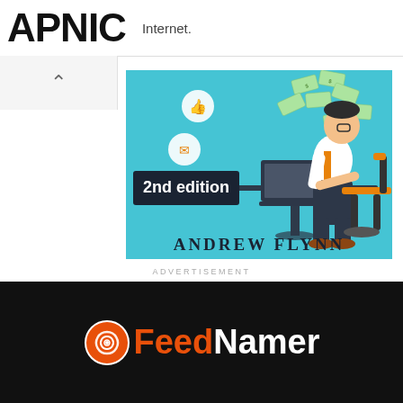APNIC  Internet.
[Figure (illustration): Advertisement image for Andrew Flynn 2nd edition book. Shows illustrated man sitting at desk with laptop, money flying in the air, social media icons (thumbs up, envelope, chat) floating nearby on teal/blue background. Text '2nd edition' in dark box at left. 'ANDREW FLYNN' in large serif text at bottom.]
ADVERTISEMENT
[Figure (logo): FeedNamer logo on black background. Circular spiral icon in orange/white on left, then 'Feed' in orange bold text and 'Namer' in white bold text.]